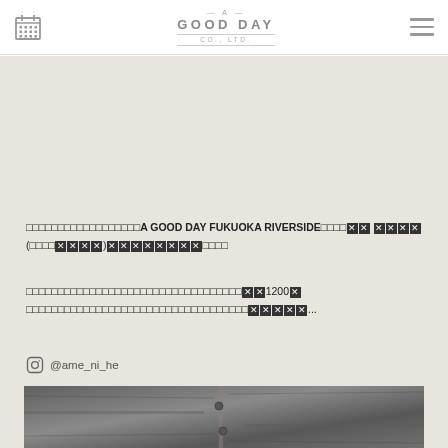A GOOD DAY CO., LTD.
□□□□□□□□□□□□□□□□□□A GOOD DAY FUKUOKA RIVERSIDE□□□□XX XXXX(□□□□XXXX)XXXXXXXX□□□□
□□□□□□□□□□□□□□□□□□□□□□□□□□□□□□□□□□XX1200X□□□□□□□□□□□□□□□□□□□□□□□□XXXXX...
@ame_ni_he
[Figure (photo): Interior photograph showing wooden construction details, partially visible at bottom of page]